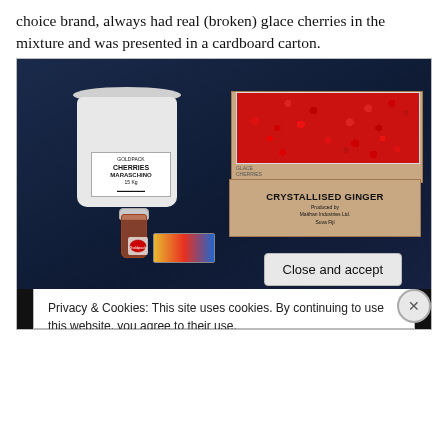choice brand, always had real (broken) glace cherries in the mixture and was presented in a cardboard carton.
[Figure (photo): Photo showing a white bucket labeled 'Goldpack Cherries Maraschino 15 Kg', a box of bright red glace cherries, a box of Crystallised Ginger by Maithan Industries Ltd. Suva Fiji, a small jar of Goldpack cherries, and a colourful candy packet, all on a dark blue background.]
Privacy & Cookies: This site uses cookies. By continuing to use this website, you agree to their use.
To find out more, including how to control cookies, see here: Cookie Policy